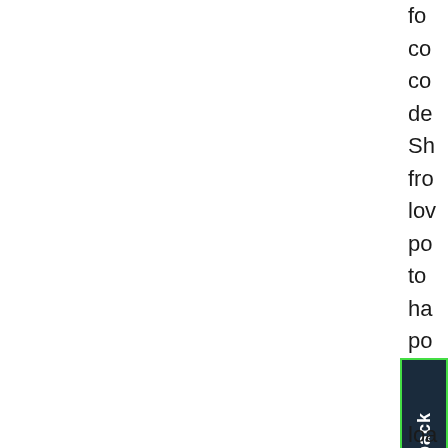fo
co
co
de
Sh
fro
lov
po
to
ha
po
is
im
[Figure (other): Feedback button widget with dark navy background and green border, rotated 'Feedback' text label]
loa